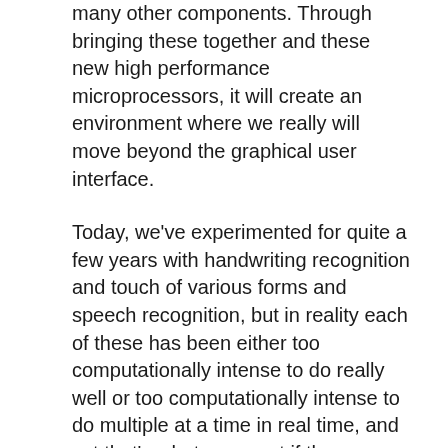many other components. Through bringing these together and these new high performance microprocessors, it will create an environment where we really will move beyond the graphical user interface.
Today, we've experimented for quite a few years with handwriting recognition and touch of various forms and speech recognition, but in reality each of these has been either too computationally intense to do really well or too computationally intense to do multiple at a time in real time, and yet that's what you want if the computer is going to take on the properties more like a person in terms of how you interact with it.
But I think that this movement toward a natural user interface is going to be critical if we're going to be able to get computers to be much more of a helper for people and less of just a tool.
Today, the computer, even though it's extremely robust, is still a tool. It's largely reactive or responsive. You can do your apprenticeship and learn a lot about it and do